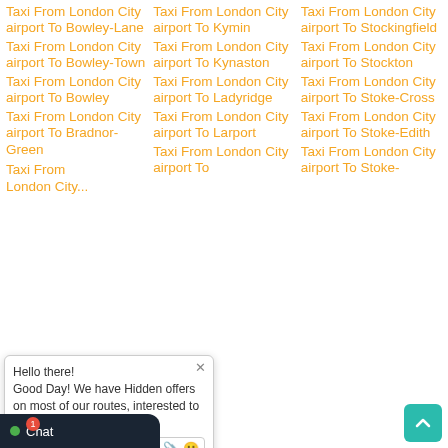Taxi From London City airport To Bowley-Lane
Taxi From London City airport To Bowley-Town
Taxi From London City airport To Bowley
Taxi From London City airport To Bradnor-Green
Taxi From London City airport To Kymin
Taxi From London City airport To Kynaston
Taxi From London City airport To Ladyridge
Taxi From London City airport To Larport
Taxi From London City airport To
Taxi From London City airport To Stockingfield
Taxi From London City airport To Stockton
Taxi From London City airport To Stoke-Cross
Taxi From London City airport To Stoke-Edith
Taxi From London City airport To Stoke-